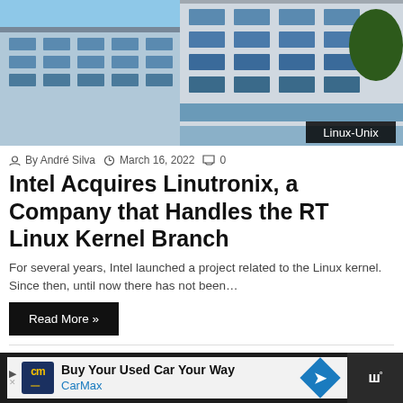[Figure (photo): Office building exterior photograph with glass facade and blue sky, with 'Linux-Unix' category tag overlay in bottom right]
By André Silva  March 16, 2022  0
Intel Acquires Linutronix, a Company that Handles the RT Linux Kernel Branch
For several years, Intel launched a project related to the Linux kernel. Since then, until now there has not been…
Read More »
March 14, 2022
Linus Torvalds Postpones Linux Kernel 5.17 Because of Spectre Problems
[Figure (illustration): Cartoon robot/mascot illustration in blue, resembling a Linux Tux-style character with round eyes]
Buy Your Used Car Your Way CarMax